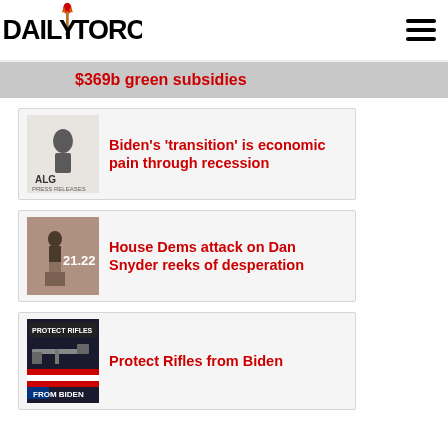DAILY TORCH
$369b green subsidies
Biden's 'transition' is economic pain through recession
House Dems attack on Dan Snyder reeks of desperation
Protect Rifles from Biden